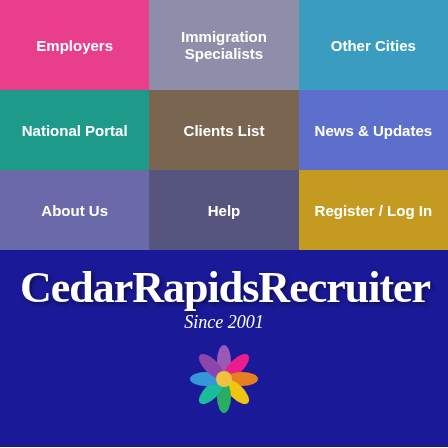[Figure (screenshot): Navigation grid with 9 colored buttons: Employers (pink), Immigration Specialists (gray-purple), Other Cities (teal-blue), National Portal (teal), Clients List (brown), News & Updates (blue-purple), About Us (purple), Help (dark purple), Register / Log In (gold)]
CedarRapidsRecruiter
Since 2001
[Figure (illustration): Colorful flower/people icon in rainbow colors on dark blue background]
the smart solution for Cedar Rapids jobs
[Figure (infographic): Social share buttons: Facebook, Messenger, Twitter, LinkedIn, Email, More (+)]